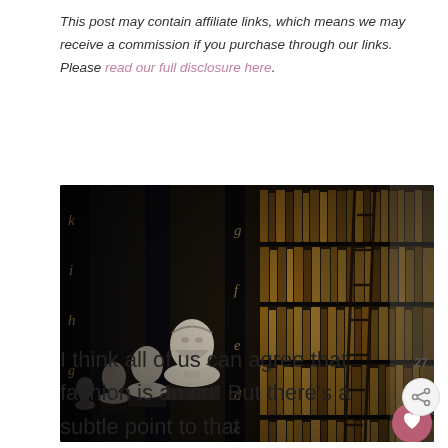This post may contain affiliate links, which means we may receive a commission if you purchase through our links. Please read our full disclosure here.
[Figure (photo): Interior of a grand library with tall dark wooden bookshelves filled with old leather-bound books, marble busts of classical figures on shelves, and a rolling ladder. Moody, dramatic lighting.]
I think all of us can agree that fashion is an art. But there’s a subtle point to that